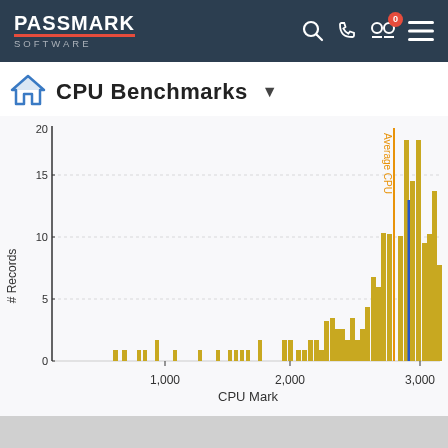PassMark Software — navigation bar with search, phone, compare (0), and menu icons
CPU Benchmarks
[Figure (histogram): Histogram of CPU Mark scores. X-axis: CPU Mark values roughly 500 to 3000+. Y-axis: # Records 0 to 20+. Gold/yellow bars cluster heavily between 2200 and 3000. An orange vertical line labeled 'Average CPU' is near 2550. A blue vertical line is near 2700. Tallest bars reach ~22 records near 2700-2800.]